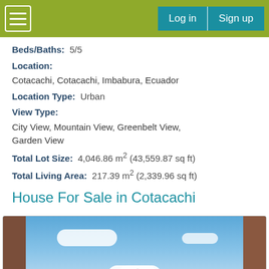Navigation bar with hamburger menu, Log in and Sign up buttons
Beds/Baths: 5/5
Location: Cotacachi, Cotacachi, Imbabura, Ecuador
Location Type: Urban
View Type: City View, Mountain View, Greenbelt View, Garden View
Total Lot Size: 4,046.86 m² (43,559.87 sq ft)
Total Living Area: 217.39 m² (2,339.96 sq ft)
House For Sale in Cotacachi
[Figure (photo): View through a window frame showing a blue sky with clouds and a mountain in the distance, exterior view from a house in Cotacachi]